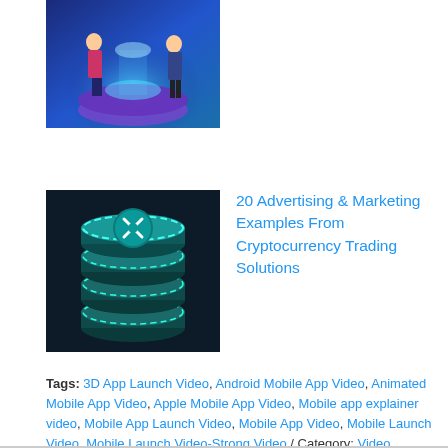[Figure (illustration): Partial view of an illustration showing two figures standing around a glowing blue circular platform, dark blue background]
[Figure (illustration): Stack of teal/cyan cryptocurrency coins with Ripple (XRP) symbol on a dark navy background]
20 Advertising & Marketing Examples From Cryptocurrency Trading Solutions
Tags: 3D App Launch Video, Android Mobile App Video, Animated Mobile App Video, Apple Mobile App Video, Mobile app explainer video, Mobile App Launch Video, Mobile App Video, Mobile Launch Video, Mobile Launch Video-Strong Video / Category: Video Production